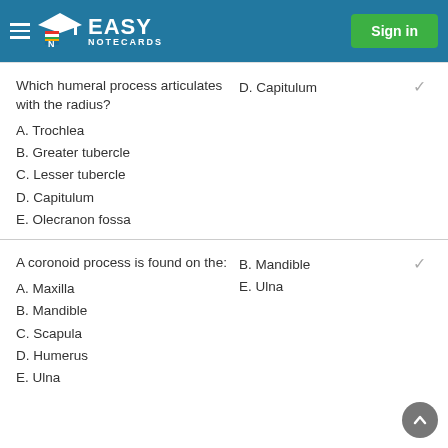Easy Notecards — Sign in
Which humeral process articulates with the radius?
A. Trochlea
B. Greater tubercle
C. Lesser tubercle
D. Capitulum
E. Olecranon fossa
D. Capitulum
A coronoid process is found on the:
A. Maxilla
B. Mandible
C. Scapula
D. Humerus
E. Ulna
B. Mandible
E. Ulna